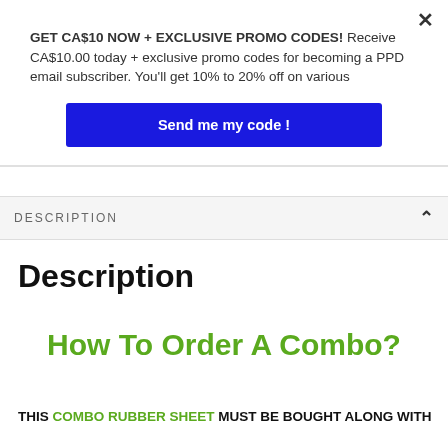GET CA$10 NOW + EXCLUSIVE PROMO CODES! Receive CA$10.00 today + exclusive promo codes for becoming a PPD email subscriber. You'll get 10% to 20% off on various
Send me my code !
DESCRIPTION
Description
How To Order A Combo?
THIS COMBO RUBBER SHEET MUST BE BOUGHT ALONG WITH